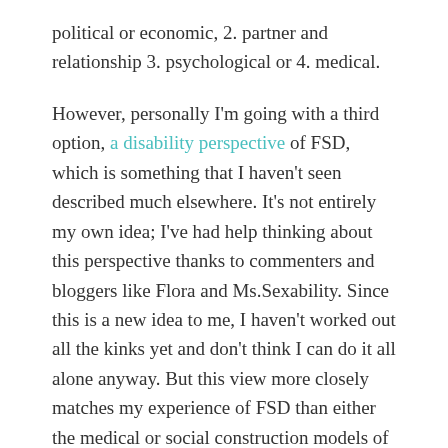political or economic, 2. partner and relationship 3. psychological or 4. medical.
However, personally I'm going with a third option, a disability perspective of FSD, which is something that I haven't seen described much elsewhere. It's not entirely my own idea; I've had help thinking about this perspective thanks to commenters and bloggers like Flora and Ms.Sexability. Since this is a new idea to me, I haven't worked out all the kinks yet and don't think I can do it all alone anyway. But this view more closely matches my experience of FSD than either the medical or social construction models of FSD. I'm hoping this third option will address weaknesses in both the medical and social construction models.